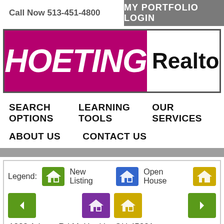Call Now 513-451-4800
MY PORTFOLIO LOGIN
[Figure (logo): Hoeting Realtors logo with magenta background for HOETING text and white background for Realtors with registered trademark symbol]
SEARCH OPTIONS
LEARNING TOOLS
OUR SERVICES
ABOUT US
CONTACT US
Legend: New Listing   Open House
1823 Adams Rd Mt Healthy OH 45231